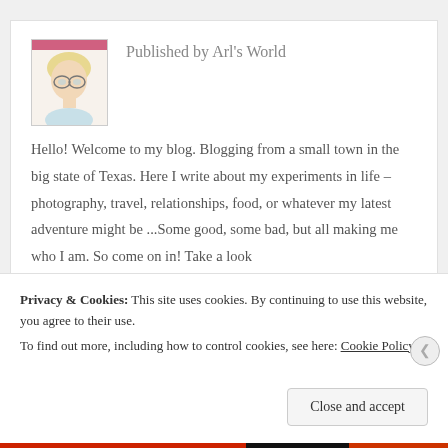[Figure (illustration): Illustrated portrait of a person with glasses and curly blonde hair]
Published by Arl's World
Hello! Welcome to my blog. Blogging from a small town in the big state of Texas. Here I write about my experiments in life – photography, travel, relationships, food, or whatever my latest adventure might be ... Some good, some bad, but all making me who I am. So come on in! Take a look
Privacy & Cookies: This site uses cookies. By continuing to use this website, you agree to their use.
To find out more, including how to control cookies, see here: Cookie Policy